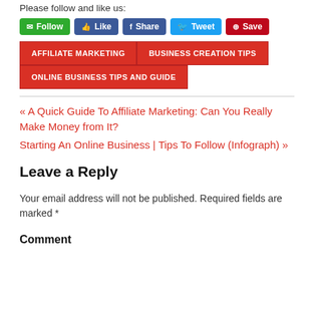Please follow and like us:
[Figure (infographic): Social media buttons: Follow (green), Like (Facebook blue), Share (Facebook blue), Tweet (Twitter blue), Save (Pinterest dark red)]
AFFILIATE MARKETING  BUSINESS CREATION TIPS  ONLINE BUSINESS TIPS AND GUIDE
« A Quick Guide To Affiliate Marketing: Can You Really Make Money from It?
Starting An Online Business | Tips To Follow (Infograph) »
Leave a Reply
Your email address will not be published. Required fields are marked *
Comment